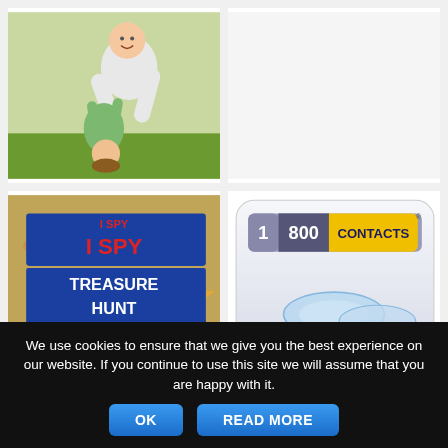[Figure (photo): Adult swinging a child upside down outdoors, both smiling]
[Figure (other): Empty white/light gray cell (no image visible)]
[Figure (photo): Book cover: I SPY TREASURE HUNT - A BOOK OF PICTURE RIDDLES. Photographs by Walter Wick, Riddles by Jean Marzollo]
[Figure (logo): 1-800 Contacts app icon with logo and contact lenses image]
We use cookies to ensure that we give you the best experience on our website. If you continue to use this site we will assume that you are happy with it.
OK
READ MORE